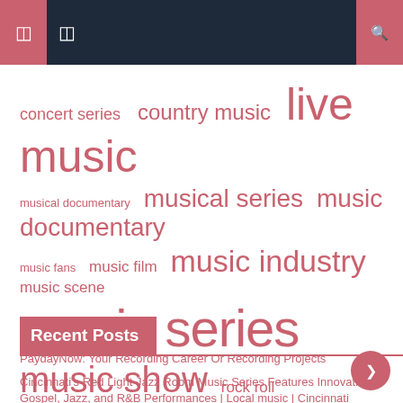Navigation bar with icons
[Figure (other): Tag cloud with music-related terms in varying sizes in salmon/pink color]
Recent Posts
PaydayNow: Your Recording Career Or Recording Projects
Cincinnati's Red Light Jazz Room Music Series Features Innovative Gospel, Jazz, and R&B Performances | Local music | Cincinnati